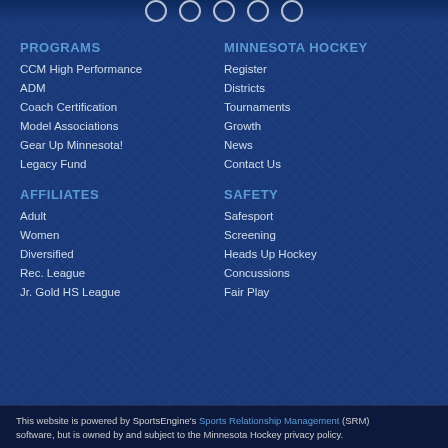PROGRAMS
CCM High Performance
ADM
Coach Certification
Model Associations
Gear Up Minnesota!
Legacy Fund
AFFILIATES
Adult
Women
Diversified
Rec. League
Jr. Gold HS League
MINNESOTA HOCKEY
Register
Districts
Tournaments
Growth
News
Contact Us
SAFETY
Safesport
Screening
Heads Up Hockey
Concussions
Fair Play
This website is powered by SportsEngine's Sports Relationship Management (SRM) software, but is owned by and subject to the Minnesota Hockey privacy policy.